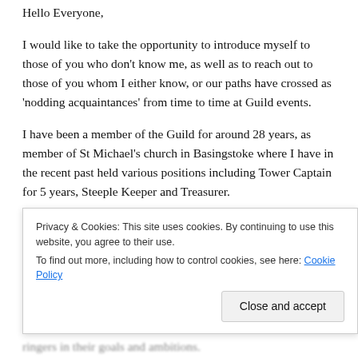Hello Everyone,
I would like to take the opportunity to introduce myself to those of you who don't know me, as well as to reach out to those of you whom I either know, or our paths have crossed as 'nodding acquaintances' from time to time at Guild events.
I have been a member of the Guild for around 28 years, as member of St Michael's church in Basingstoke where I have in the recent past held various positions including Tower Captain for 5 years, Steeple Keeper and Treasurer.
For me, the pleasure of ringing is not only self satisfaction, but also to help others to develop their skills in the tower. Within
Privacy & Cookies: This site uses cookies. By continuing to use this website, you agree to their use.
To find out more, including how to control cookies, see here: Cookie Policy
Close and accept
ringers in their goals and ambitions.